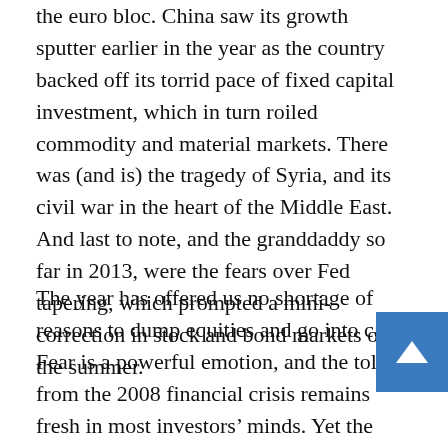the euro bloc. China saw its growth sputter earlier in the year as the country backed off its torrid pace of fixed capital investment, which in turn roiled commodity and material markets. There was (and is) the tragedy of Syria, and its civil war in the heart of the Middle East. And last to note, and the granddaddy so far in 2013, were the fears over Fed tapering, which prompted a mini-correction in stock and bond markets over the summer.
The year has offered us no shortage of reasons to dump equities and go into cash. Fear is a powerful emotion, and the toll from the 2008 financial crisis remains fresh in most investors' minds. Yet the market, represented by S&P 500, is up in excess 30% at present. Considering longer-term horizons...